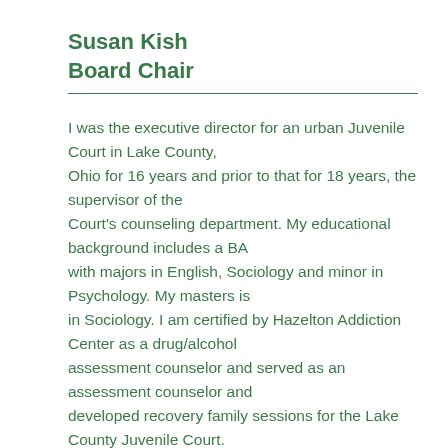Susan Kish
Board Chair
I was the executive director for an urban Juvenile Court in Lake County, Ohio for 16 years and prior to that for 18 years, the supervisor of the Court's counseling department. My educational background includes a BA with majors in English, Sociology and minor in Psychology. My masters is in Sociology. I am certified by Hazelton Addiction Center as a drug/alcohol assessment counselor and served as an assessment counselor and developed recovery family sessions for the Lake County Juvenile Court. Under the auspices of the Governor of Ohio, I also participated in the Lake County Family and Children First Council serving as member of Council